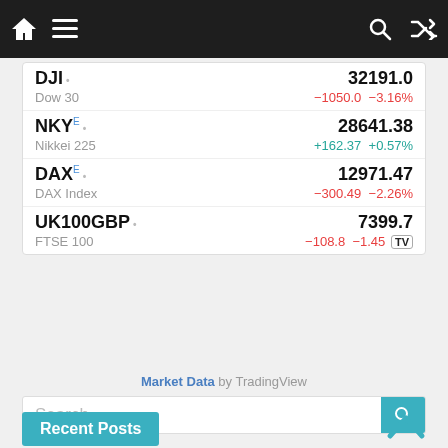Navigation bar with home, menu, search, and shuffle icons
| Ticker | Price | Change | Change% |
| --- | --- | --- | --- |
| DJI | 32191.0 | -1050.0 | -3.16% |
| NKY E | 28641.38 | +162.37 | +0.57% |
| DAX E | 12971.47 | -300.49 | -2.26% |
| UK100GBP | 7399.7 | -108.8 | -1.45% |
Market Data by TradingView
Search
Recent Posts